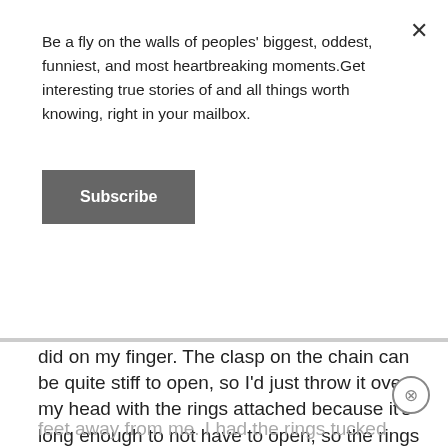Be a fly on the walls of peoples' biggest, oddest, funniest, and most heartbreaking moments.Get interesting true stories of and all things worth knowing, right in your mailbox.
Subscribe
did on my finger. The clasp on the chain can be quite stiff to open, so I'd just throw it over my head with the rings attached because it's long enough to not have to open, so the rings and the chain had been together for a few weeks at this point without me ever opening the clasp, because there was no need.
So I was in work with another colleague about 2 feet away from me. I had the rings tucked well